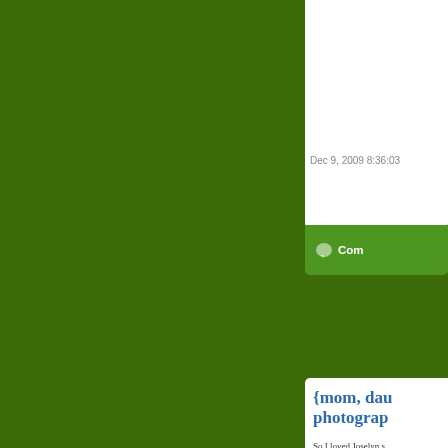[Figure (screenshot): Blog website screenshot with dark olive/green background on the left panel and white content cards on the right side showing a blog post about photography]
Dec 9, 2009 8:36:03
Com
{mom, dau photographe
So I loved Joselyn I mean you to
And it turns out the mom) fur babies. A & Decatur -- all cu just say there wasn'
Here are a few ima you -- I hope these